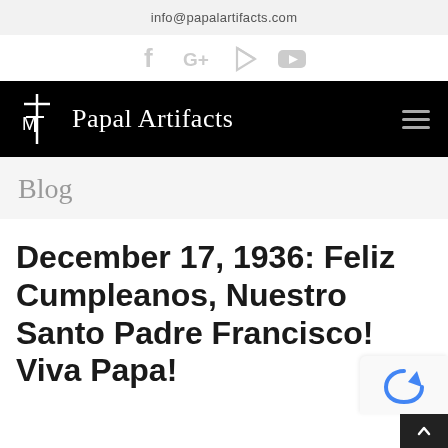info@papalartifacts.com
[Figure (other): Social media icons: Facebook, Google+, RSS feed, YouTube]
[Figure (logo): Papal Artifacts logo with cross and TM symbol on black navigation bar, with hamburger menu icon]
Blog
December 17, 1936: Feliz Cumpleanos, Nuestro Santo Padre Francisco! Viva Papa!